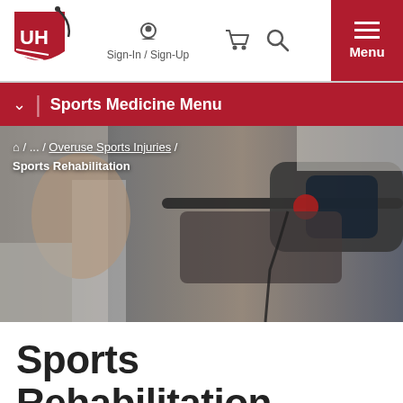[Figure (logo): University Hospitals (UH) logo with red shield and white UH letters]
Sign-In / Sign-Up  [cart icon]  [search icon]  Menu
Sports Medicine Menu
[Figure (photo): Person using exercise/rehabilitation equipment, treadmill or elliptical machine, close-up of arms and machine handles]
Home / ... / Overuse Sports Injuries / Sports Rehabilitation
Sports Rehabilitation